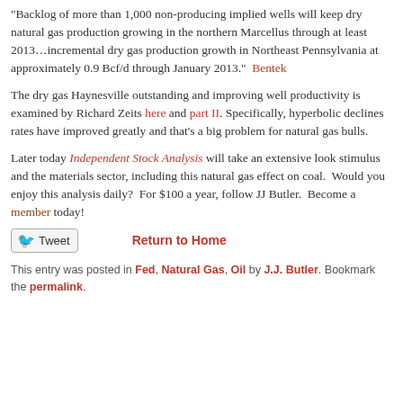“Backlog of more than 1,000 non-producing implied wells will keep dry natural gas production growing in the northern Marcellus through at least 2013…incremental dry gas production growth in Northeast Pennsylvania at approximately 0.9 Bcf/d through January 2013.”  Bentek
The dry gas Haynesville outstanding and improving well productivity is examined by Richard Zeits here and part II. Specifically, hyperbolic declines rates have improved greatly and that’s a big problem for natural gas bulls.
Later today Independent Stock Analysis will take an extensive look stimulus and the materials sector, including this natural gas effect on coal.  Would you enjoy this analysis daily?  For $100 a year, follow JJ Butler.  Become a member today!
Tweet   Return to Home
This entry was posted in Fed, Natural Gas, Oil by J.J. Butler. Bookmark the permalink.